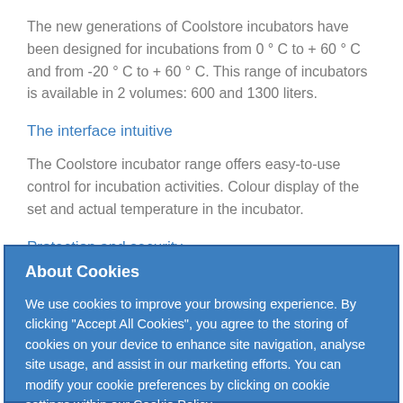The new generations of Coolstore incubators have been designed for incubations from 0 ° C to + 60 ° C and from -20 ° C to + 60 ° C. This range of incubators is available in 2 volumes: 600 and 1300 liters.
The interface intuitive
The Coolstore incubator range offers easy-to-use control for incubation activities. Colour display of the set and actual temperature in the incubator.
Protection and security
About Cookies
We use cookies to improve your browsing experience. By clicking "Accept All Cookies", you agree to the storing of cookies on your device to enhance site navigation, analyse site usage, and assist in our marketing efforts. You can modify your cookie preferences by clicking on cookie settings within our Cookie Policy